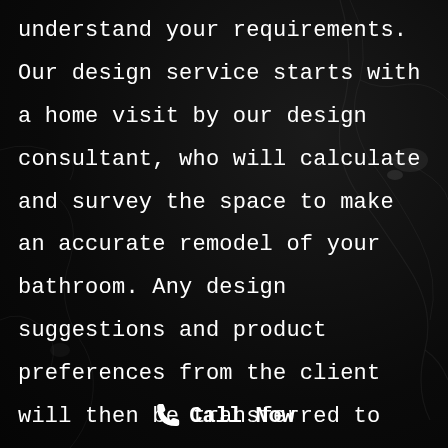understand your requirements. Our design service starts with a home visit by our design consultant, who will calculate and survey the space to make an accurate remodel of your bathroom. Any design suggestions and product preferences from the client will then be transferred to our CAD Designer, who will make use of this advice in addition to our own suggestions, to generate a full 3D visualisation of the room space. We'll offer an assortment of
Call Now